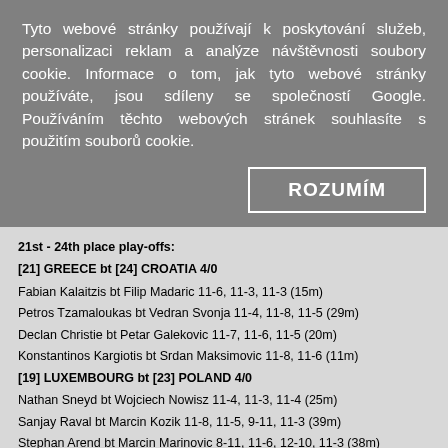Tyto webové stránky používají k poskytování služeb, personalizaci reklam a analýze návštěvnosti soubory cookie. Informace o tom, jak tyto webové stránky používáte, jsou sdíleny se společností Google. Používáním těchto webových stránek souhlasíte s použitím souborů cookie.
ROZUMÍM
21st - 24th place play-offs:
[21] GREECE bt [24] CROATIA 4/0
Fabian Kalaitzis bt Filip Madaric 11-6, 11-3, 11-3 (15m)
Petros Tzamaloukas bt Vedran Svonja 11-4, 11-8, 11-5 (29m)
Declan Christie bt Petar Galekovic 11-7, 11-6, 11-5 (20m)
Konstantinos Kargiotis bt Srdan Maksimovic 11-8, 11-6 (11m)
[19] LUXEMBOURG bt [23] POLAND 4/0
Nathan Sneyd bt Wojciech Nowisz 11-4, 11-3, 11-4 (25m)
Sanjay Raval bt Marcin Kozik 11-8, 11-5, 9-11, 11-3 (39m)
Stephan Arend bt Marcin Marinovic 8-11, 11-6, 12-10, 11-3 (38m)